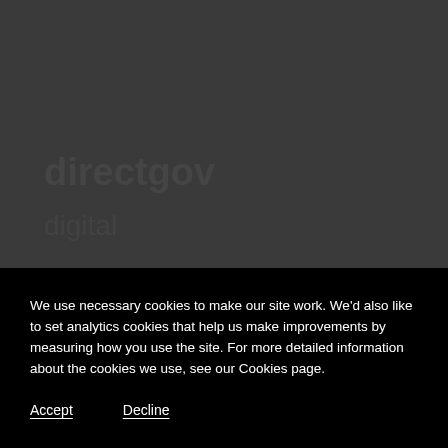[Figure (screenshot): Dark grey background representing a website page background with faint blurred text/content visible]
We use necessary cookies to make our site work. We'd also like to set analytics cookies that help us make improvements by measuring how you use the site. For more detailed information about the cookies we use, see our Cookies page.
Accept   Decline